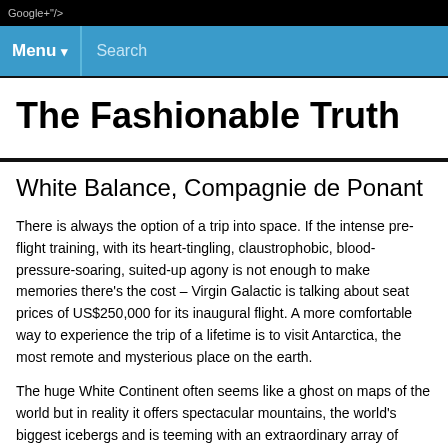Google+"/>
Menu ▾   Search
The Fashionable Truth
White Balance, Compagnie de Ponant
There is always the option of a trip into space. If the intense pre-flight training, with its heart-tingling, claustrophobic, blood-pressure-soaring, suited-up agony is not enough to make memories there's the cost – Virgin Galactic is talking about seat prices of US$250,000 for its inaugural flight. A more comfortable way to experience the trip of a lifetime is to visit Antarctica, the most remote and mysterious place on the earth.
The huge White Continent often seems like a ghost on maps of the world but in reality it offers spectacular mountains, the world's biggest icebergs and is teeming with an extraordinary array of wildlife: fur seals, penguins, albatrosses, sea elephants, orcas and whales live